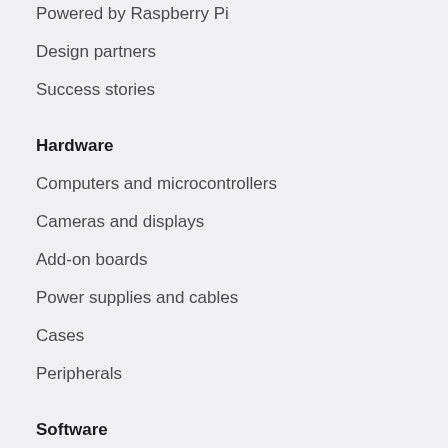Powered by Raspberry Pi
Design partners
Success stories
Hardware
Computers and microcontrollers
Cameras and displays
Add-on boards
Power supplies and cables
Cases
Peripherals
Software
Raspberry Pi OS
Raspberry Pi Imager